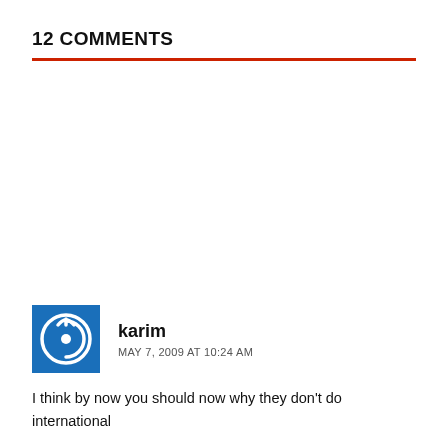12 COMMENTS
karim
MAY 7, 2009 AT 10:24 AM
I think by now you should now why they don't do international